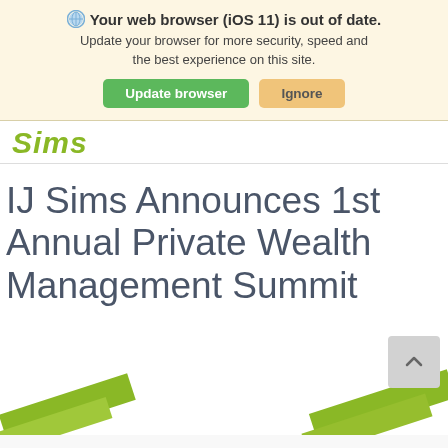Your web browser (iOS 11) is out of date. Update your browser for more security, speed and the best experience on this site.
[Figure (logo): Sims company logo, partially visible, green italic text]
IJ Sims Announces 1st Annual Private Wealth Management Summit
[Figure (illustration): Green diagonal stripe graphic elements at the bottom of the page, partial view of decorative brand graphics]